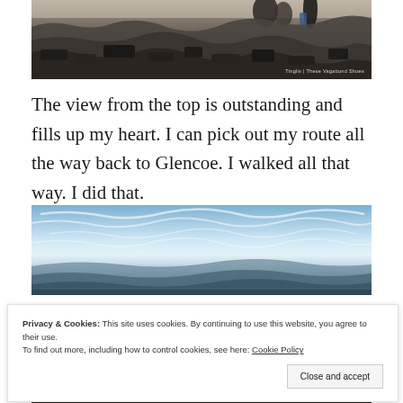[Figure (photo): Rocky mountain summit scene with people sitting on rocks, dark rocky landscape, watermark text 'Tinglis | These Vagabond Shoes' in bottom right]
The view from the top is outstanding and fills up my heart. I can pick out my route all the way back to Glencoe. I walked all that way. I did that.
[Figure (photo): Panoramic view from mountain top showing wide blue sky with wispy clouds and distant horizon/hills]
Privacy & Cookies: This site uses cookies. By continuing to use this website, you agree to their use.
To find out more, including how to control cookies, see here: Cookie Policy
Close and accept
[Figure (photo): Partial view of rocky landscape at bottom of page]